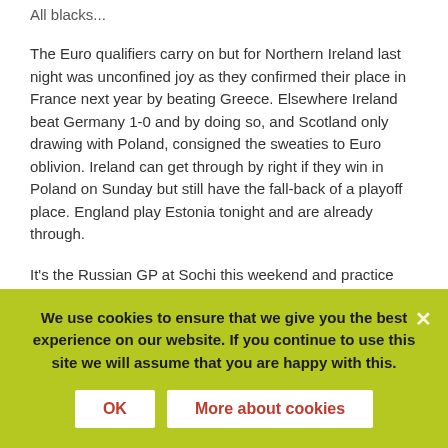All blacks...
The Euro qualifiers carry on but for Northern Ireland last night was unconfined joy as they confirmed their place in France next year by beating Greece. Elsewhere Ireland beat Germany 1-0 and by doing so, and Scotland only drawing with Poland, consigned the sweaties to Euro oblivion. Ireland can get through by right if they win in Poland on Sunday but still have the fall-back of a playoff place. England play Estonia tonight and are already through.
It's the Russian GP at Sochi this weekend and practice this morning was disrupted after a number of cars came off the track after a cleaning truck dropped a large quantity of diesel on the track. Mercedes can clinch the drivers title...
We use cookies to ensure that we give you the best experience on our website. If you continue to use this site we will assume that you are happy with this.